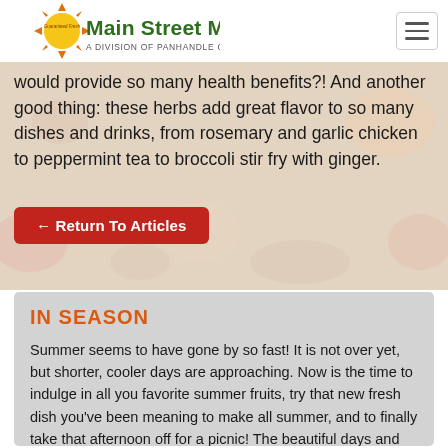Main Street Market — A Division of Panhandle Coop
would provide so many health benefits?! And another good thing: these herbs add great flavor to so many dishes and drinks, from rosemary and garlic chicken to peppermint tea to broccoli stir fry with ginger.
← Return To Articles
IN SEASON
Summer seems to have gone by so fast! It is not over yet, but shorter, cooler days are approaching. Now is the time to indulge in all you favorite summer fruits, try that new fresh dish you've been meaning to make all summer, and to finally take that afternoon off for a picnic! The beautiful days and nights of summer are still here, and so are all your summer produce favorites. Enjoy them to the fullest time.